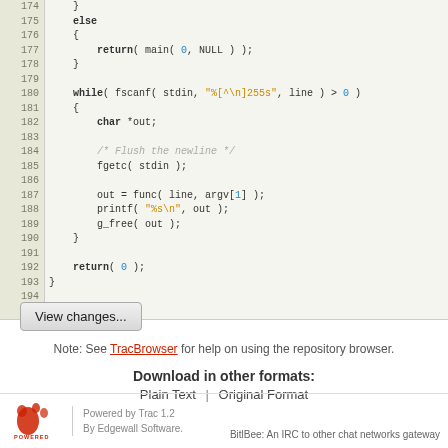[Figure (screenshot): Source code viewer showing lines 174-195 of a C program with syntax highlighting. Line numbers in left column with beige background. Keywords in bold, strings in orange, numeric literals in blue, comments in gray italic.]
View changes...
Note: See TracBrowser for help on using the repository browser.
Download in other formats:
Plain Text | Original Format
Powered by Trac 1.2
By Edgewall Software.
BitBee: An IRC to other chat networks gateway